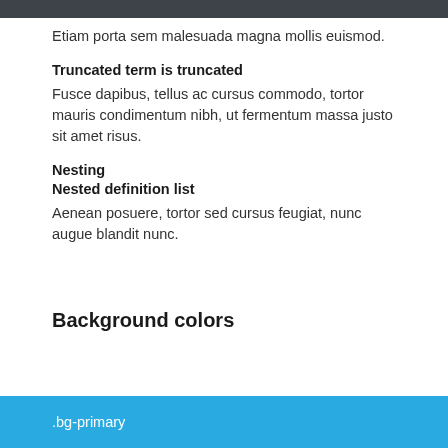Etiam porta sem malesuada magna mollis euismod.
Truncated term is truncated
Fusce dapibus, tellus ac cursus commodo, tortor mauris condimentum nibh, ut fermentum massa justo sit amet risus.
Nesting
Nested definition list
Aenean posuere, tortor sed cursus feugiat, nunc augue blandit nunc.
Background colors
.bg-primary